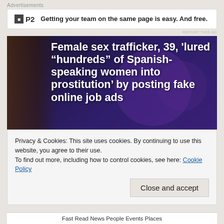Advertisements
[Figure (other): Advertisement banner for P2 with logo and text: Getting your team on the same page is easy. And free.]
REPORT THIS AD
[Figure (photo): News article hero image with dark blue/purple overlay showing a woman's face on the left and text overlay reading: Female sex trafficker, 39, 'lured "hundreds" of Spanish-speaking women into prostitution' by posting fake online job ads]
Female sex trafficker, 39, 'lured “hundreds” of Spanish-speaking women into prostitution' by posting fake online job ads
[Figure (photo): Partial photo below the headline image, showing a building exterior, partially obscured by cookie banner]
Privacy & Cookies: This site uses cookies. By continuing to use this website, you agree to their use.
To find out more, including how to control cookies, see here: Cookie Policy
Fast Read News People Events Places